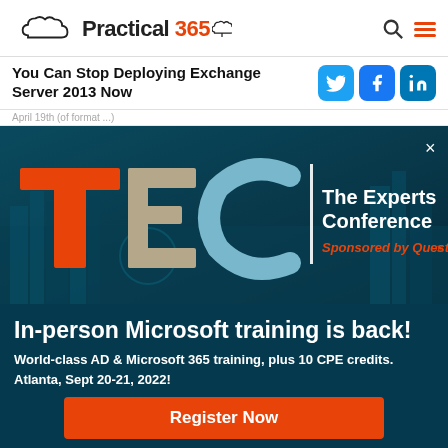[Figure (logo): Practical 365 logo with cloud icon]
You Can Stop Deploying Exchange Server 2013 Now
[Figure (infographic): TEC – The Experts Conference banner, Sponsored by Quest. Blue city skyline background with large TEC letters in orange/beige.]
In-person Microsoft training is back!
World-class AD & Microsoft 365 training, plus 10 CPE credits.
Atlanta, Sept 20-21, 2022!
Register Now